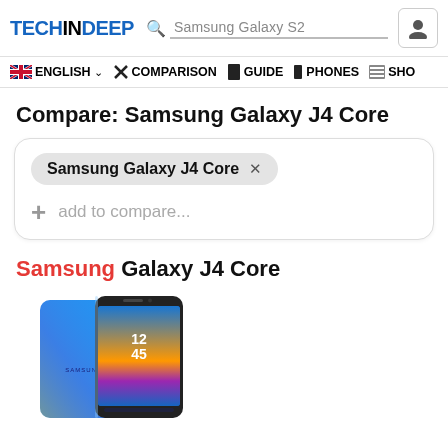TECHINDEEP — Samsung Galaxy S2 search bar, user icon
ENGLISH ∨  COMPARISON  GUIDE  PHONES  SHO
Compare: Samsung Galaxy J4 Core
Samsung Galaxy J4 Core ×
+ add to compare...
Samsung Galaxy J4 Core
[Figure (photo): Samsung Galaxy J4 Core smartphone shown from the front and back in blue color]